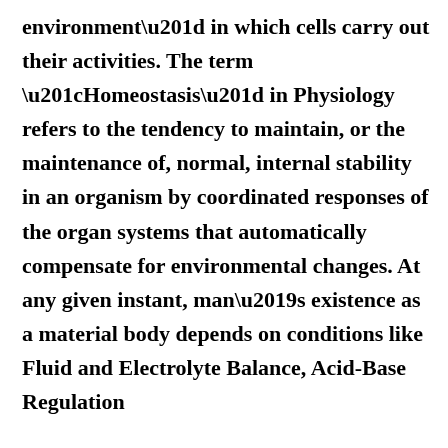environment” in which cells carry out their activities. The term “Homeostasis” in Physiology refers to the tendency to maintain, or the maintenance of, normal, internal stability in an organism by coordinated responses of the organ systems that automatically compensate for environmental changes. At any given instant, man’s existence as a material body depends on conditions like Fluid and Electrolyte Balance, Acid-Base Regulation